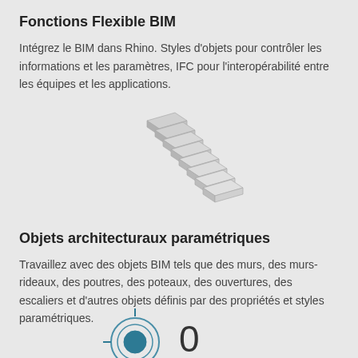Fonctions Flexible BIM
Intégrez le BIM dans Rhino. Styles d'objets pour contrôler les informations et les paramètres, IFC pour l'interopérabilité entre les équipes et les applications.
[Figure (illustration): 3D isometric illustration of a staircase with floating steps, rendered in light gray and white tones]
Objets architecturaux paramétriques
Travaillez avec des objets BIM tels que des murs, des murs-rideaux, des poutres, des poteaux, des ouvertures, des escaliers et d'autres objets définis par des propriétés et styles paramétriques.
[Figure (illustration): Partial view of a circular target/scope icon in teal/dark color and a zero symbol, representing BIM parametric tools]